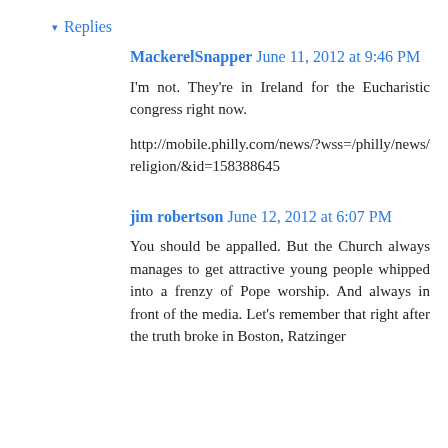▾ Replies
MackerelSnapper June 11, 2012 at 9:46 PM
I'm not. They're in Ireland for the Eucharistic congress right now.
http://mobile.philly.com/news/?wss=/philly/news/religion/&id=158388645
jim robertson June 12, 2012 at 6:07 PM
You should be appalled. But the Church always manages to get attractive young people whipped into a frenzy of Pope worship. And always in front of the media. Let's remember that right after the truth broke in Boston, Ratzinger